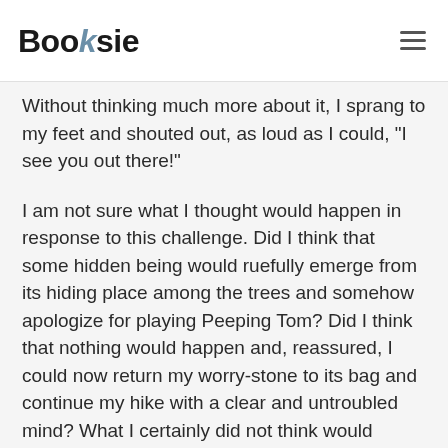Booksie
Without thinking much more about it, I sprang to my feet and shouted out, as loud as I could, “I see you out there!”
I am not sure what I thought would happen in response to this challenge. Did I think that some hidden being would ruefully emerge from its hiding place among the trees and somehow apologize for playing Peeping Tom? Did I think that nothing would happen and, reassured, I could now return my worry-stone to its bag and continue my hike with a clear and untroubled mind? What I certainly did not think would happen was in fact what did happen. I got a reply!
Not in words. There was no disembodied voice speaking to me. The reply leapt fully formed and instantaneously into my mind. I knew that it was a reply with the same feeling of clarity and conviction